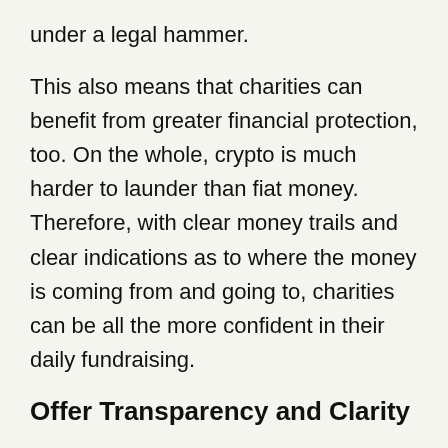under a legal hammer.
This also means that charities can benefit from greater financial protection, too. On the whole, crypto is much harder to launder than fiat money. Therefore, with clear money trails and clear indications as to where the money is coming from and going to, charities can be all the more confident in their daily fundraising.
Offer Transparency and Clarity
Modern charities should, by design, be open and clear on how they operate, and where their money comes from, and to. That trend